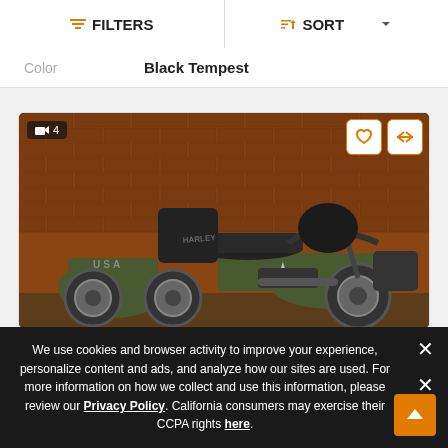FILTERS   SORT
| Color | Black Tempest |
| --- | --- |
[Figure (photo): Olive green Harley-Davidson tri-glide trike motorcycle with USA markings and star insignia, parked in front of a brick wall]
We use cookies and browser activity to improve your experience, personalize content and ads, and analyze how our sites are used. For more information on how we collect and use this information, please review our Privacy Policy. California consumers may exercise their CCPA rights here.